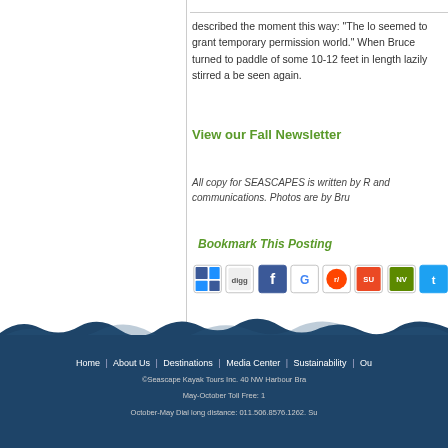described the moment this way: “The lo seemed to grant temporary permission world.” When Bruce turned to paddle of some 10-12 feet in length lazily stirred a be seen again.
View our Fall Newsletter
All copy for SEASCAPES is written by R and communications. Photos are by Bru
Bookmark This Posting
[Figure (screenshot): Row of social media bookmark icons including Delicious, Digg, Facebook, Google, Reddit, StumbleUpon, and others]
Home | About Us | Destinations | Media Center | Sustainability | Ou
©Seascape Kayak Tours Inc. 40 NW Harbour Bra May-October Toll Free: 1 October-May Dial long distance: 011.506.8576.1262. Su